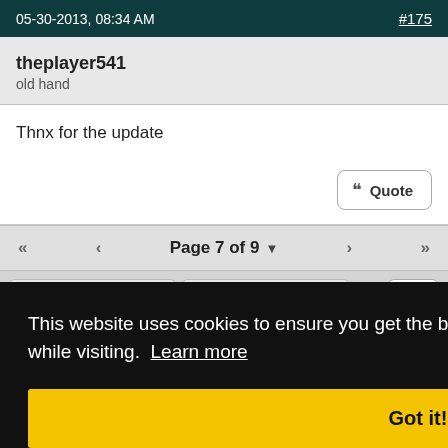05-30-2013, 08:34 AM  #175
theplayer541
old hand
Thnx for the update
Page 7 of 9
This website uses cookies to ensure you get the best experience and relevant advertisements while visiting. Learn more
Got it!